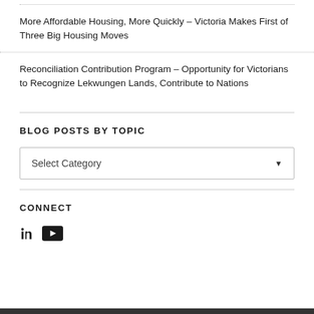More Affordable Housing, More Quickly – Victoria Makes First of Three Big Housing Moves
Reconciliation Contribution Program – Opportunity for Victorians to Recognize Lekwungen Lands, Contribute to Nations
BLOG POSTS BY TOPIC
Select Category
CONNECT
[Figure (other): LinkedIn and YouTube social media icons]